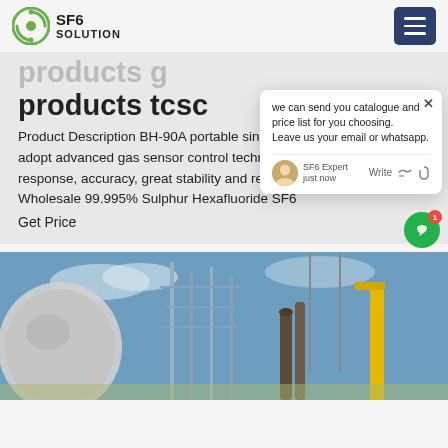SF6 SOLUTION
products tcsc
Product Description BH-90A portable single gas detector adopt advanced gas sensor control technical, has quick response, accuracy, great stability and repeatability. Wholesale 99.995% Sulphur Hexafluoride SF6
Get Price
[Figure (screenshot): Chat popup from SF6 Expert with message: we can send you catalogue and price list for you choosing. Leave us your email or whatsapp. Agent name: SF6 Expert, time: just now. Write field with like and attachment icons.]
[Figure (photo): Electrical substation with high-voltage equipment, insulators, transformers and towers against blue sky]